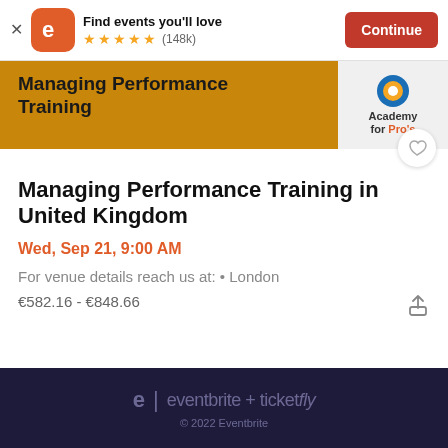Find events you'll love ★★★★★ (148k) Continue
[Figure (screenshot): Event banner image showing 'Managing Performance Training' text on golden/amber background with Academy for Pro's logo in top right corner]
Managing Performance Training in United Kingdom
Wed, Sep 21, 9:00 AM
For venue details reach us at: • London
€582.16 - €848.66
e | eventbrite + ticketfly © 2022 Eventbrite